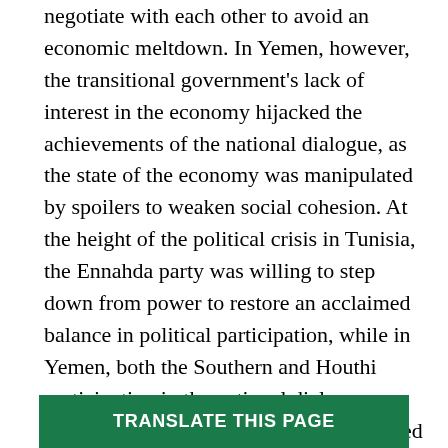negotiate with each other to avoid an economic meltdown. In Yemen, however, the transitional government's lack of interest in the economy hijacked the achievements of the national dialogue, as the state of the economy was manipulated by spoilers to weaken social cohesion. At the height of the political crisis in Tunisia, the Ennahda party was willing to step down from power to restore an acclaimed balance in political participation, while in Yemen, both the Southern and Houthi participation in the national dialogue masked hidden agendas which undermined the country's social cohesion. While Tunisia's national dialogue allowed it to usher in the future by passing a Constitution which guaranteed tolerance for diversity in the country, Yemen's history of rejection of the Houthis came back to haunt the national dialogue, as the movement was
TRANSLATE THIS PAGE